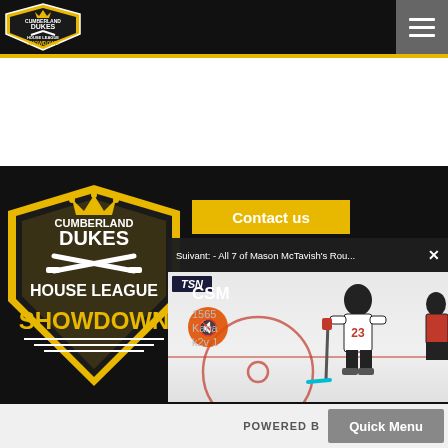[Figure (logo): Cumberland Dukes House League Showdown logo in top navigation bar]
[Figure (screenshot): Website screenshot showing Cumberland Dukes House League Showdown page with nav bar, logo, contact info, and video overlay of hockey player on TSN]
Contact us
Suivant: - All 7 of Mason McTavish's Rou...
CSM
1565
Kana
k2v 1
POWERED B
Quick Menu